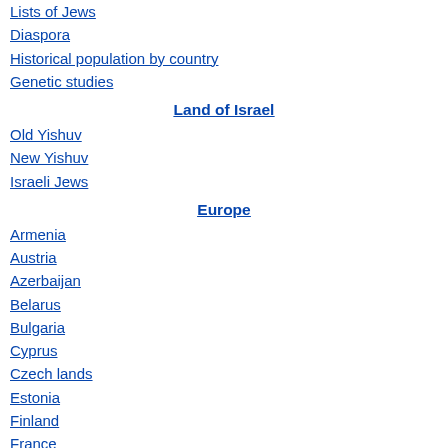Lists of Jews
Diaspora
Historical population by country
Genetic studies
Land of Israel
Old Yishuv
New Yishuv
Israeli Jews
Europe
Armenia
Austria
Azerbaijan
Belarus
Bulgaria
Cyprus
Czech lands
Estonia
Finland
France
Georgia
Germany
Greece
Hungary